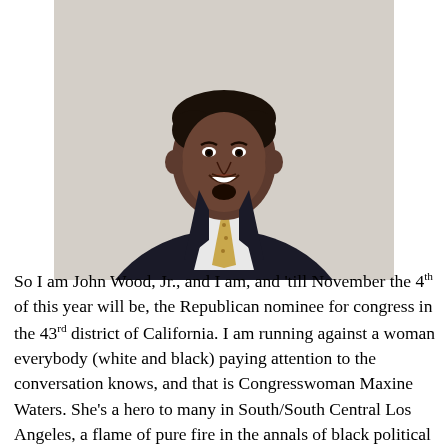[Figure (photo): Portrait photograph of John Wood, Jr., a young Black man wearing a dark suit with a light golden tie and white dress shirt, smiling at the camera. The background is a plain light beige/grey wall.]
So I am John Wood, Jr., and I am, and 'till November the 4th of this year will be, the Republican nominee for congress in the 43rd district of California. I am running against a woman everybody (white and black) paying attention to the conversation knows, and that is Congresswoman Maxine Waters. She's a hero to many in South/South Central Los Angeles, a flame of pure fire in the annals of black political